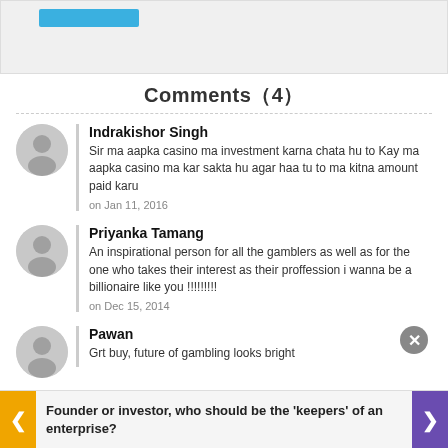[Figure (other): Top bar with gray background and blue button/banner element]
Comments（4）
Indrakishor Singh
Sir ma aapka casino ma investment karna chata hu to Kay ma aapka casino ma kar sakta hu agar haa tu to ma kitna amount paid karu
on Jan 11, 2016
Priyanka Tamang
An inspirational person for all the gamblers as well as for the one who takes their interest as their proffession i wanna be a billionaire like you !!!!!!!!! 
on Dec 15, 2014
Pawan
Grt buy, future of gambling looks bright
Founder or investor, who should be the 'keepers' of an enterprise?